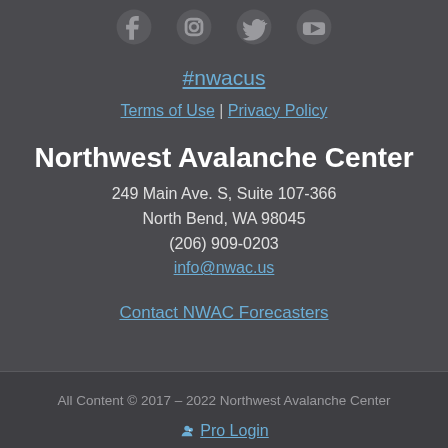[Figure (illustration): Social media icons: Facebook, Instagram, Twitter, YouTube]
#nwacus
Terms of Use | Privacy Policy
Northwest Avalanche Center
249 Main Ave. S, Suite 107-366
North Bend, WA 98045
(206) 909-0203
info@nwac.us
Contact NWAC Forecasters
All Content © 2017 – 2022 Northwest Avalanche Center
Pro Login